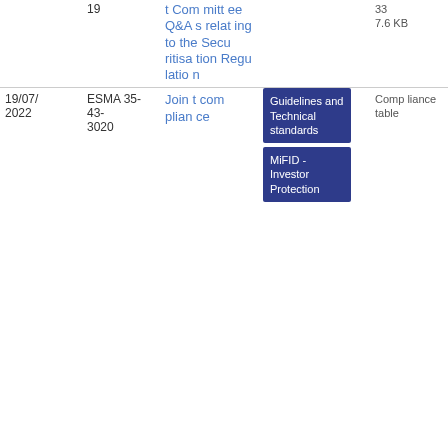| Date | Reference | Title | Type | Compliance table | Download |
| --- | --- | --- | --- | --- | --- |
|  | 19 | Committee Q&As relating to the Securitisation Regulation |  | 33
7.6 KB |  |
| 19/07/2022 | ESMA 35-43-3020 | Joint compliance table | Guidelines and Technical standards | MiFID - Investor Protection | Compliance table | PDF
32
0.25 KB |